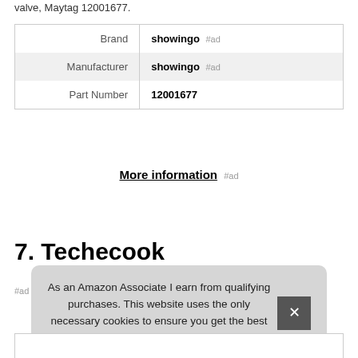valve, Maytag 12001677.
| Brand | showingo #ad |
| Manufacturer | showingo #ad |
| Part Number | 12001677 |
More information #ad
7. Techecook
#ad
As an Amazon Associate I earn from qualifying purchases. This website uses the only necessary cookies to ensure you get the best experience on our website. More information